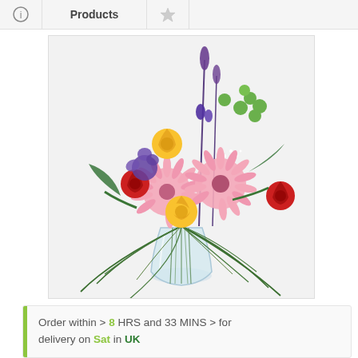Products
[Figure (photo): A colorful flower bouquet in a glass vase, featuring pink gerberas, yellow roses, red roses, purple lisianthus, green button flowers, white gypsophila, and grass-like foliage, set against a white background.]
Order within > 8 HRS and 33 MINS > for delivery on Sat in UK